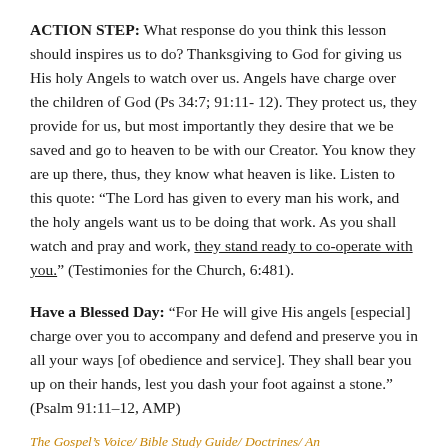ACTION STEP: What response do you think this lesson should inspires us to do? Thanksgiving to God for giving us His holy Angels to watch over us. Angels have charge over the children of God (Ps 34:7; 91:11- 12). They protect us, they provide for us, but most importantly they desire that we be saved and go to heaven to be with our Creator. You know they are up there, thus, they know what heaven is like. Listen to this quote: “The Lord has given to every man his work, and the holy angels want us to be doing that work. As you shall watch and pray and work, they stand ready to co-operate with you.” (Testimonies for the Church, 6:481).
Have a Blessed Day: “For He will give His angels [especial] charge over you to accompany and defend and preserve you in all your ways [of obedience and service]. They shall bear you up on their hands, lest you dash your foot against a stone.” (Psalm 91:11–12, AMP)
The Gospel’s Voice/ Bible Study Guide/ Doctrines/ An